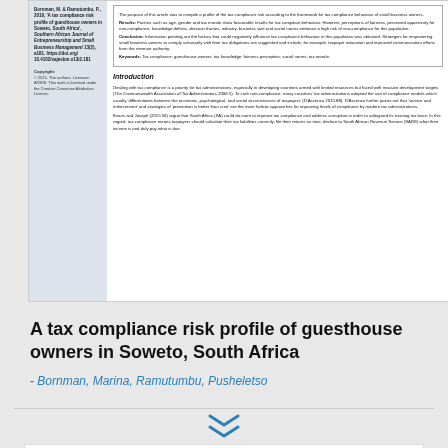[Figure (screenshot): Preview of an academic journal article page showing left sidebar with citation/copyright info and right main column with abstract sections (Results, Conclusions, Keywords) and Introduction text about tax compliance in South Africa.]
A tax compliance risk profile of guesthouse owners in Soweto, South Africa
- Bornman, Marina, Ramutumbu, Pusheletso
Authors: Bornman, Marina , Ramutumbu, Pusheletso